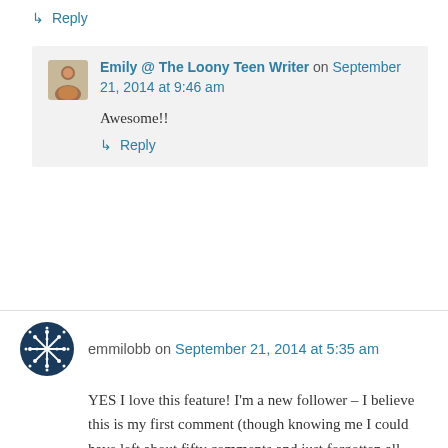↳ Reply
Emily @ The Loony Teen Writer on September 21, 2014 at 9:46 am
Awesome!!
↳ Reply
emmilobb on September 21, 2014 at 5:35 am
YES I love this feature! I'm a new follower – I believe this is my first comment (though knowing me I could have left about fifty comments and just forgotten all about them) – but I'd like to say I love your blog! Now I'm off to craft my post 😀